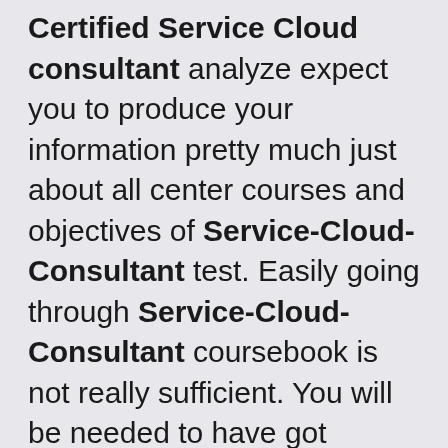Certified Service Cloud consultant analyze expect you to produce your information pretty much just about all center courses and objectives of Service-Cloud-Consultant test. Easily going through Service-Cloud-Consultant coursebook is not really sufficient. You will be needed to have got information as well as practice with regards to precarious queries posed with genuine Service-Cloud-